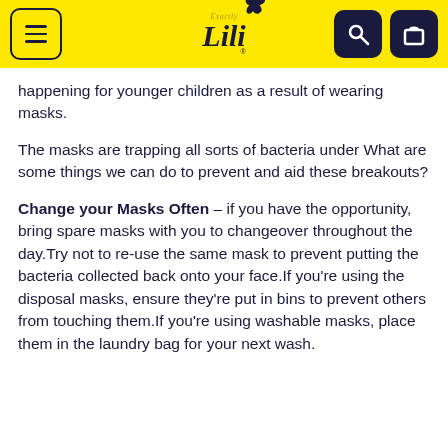Exactly Lili — navigation header with menu, logo, search and bag icons
happening for younger children as a result of wearing masks.
The masks are trapping all sorts of bacteria under What are some things we can do to prevent and aid these breakouts?
Change your Masks Often – if you have the opportunity, bring spare masks with you to changeover throughout the day.Try not to re-use the same mask to prevent putting the bacteria collected back onto your face.If you're using the disposal masks, ensure they're put in bins to prevent others from touching them.If you're using washable masks, place them in the laundry bag for your next wash.